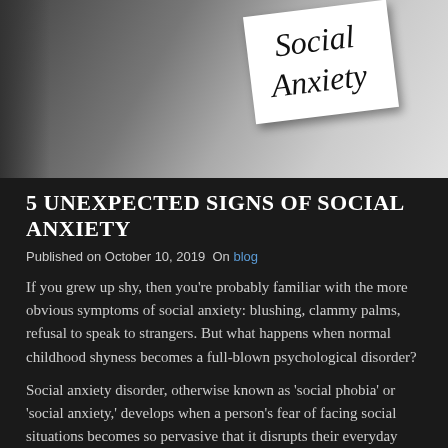[Figure (photo): Photo of a white card with cursive text reading 'Social Anxiety' on a blurred background]
5 UNEXPECTED SIGNS OF SOCIAL ANXIETY
Published on October 10, 2019  On blog
If you grew up shy, then you're probably familiar with the more obvious symptoms of social anxiety: blushing, clammy palms, refusal to speak to strangers. But what happens when normal childhood shyness becomes a full-blown psychological disorder?
Social anxiety disorder, otherwise known as 'social phobia' or 'social anxiety,' develops when a person's fear of facing social situations becomes so pervasive that it disrupts their everyday